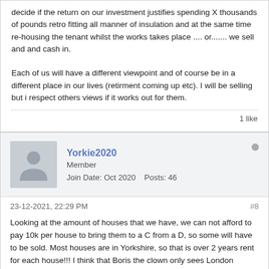decide if the return on our investment justifies spending X thousands of pounds retro fitting all manner of insulation and at the same time re-housing the tenant whilst the works takes place .... or....... we sell and and cash in.

Each of us will have a different viewpoint and of course be in a different place in our lives (retirment coming up etc). I will be selling but i respect others views if it works out for them.
1 like
Yorkie2020
Member
Join Date: Oct 2020    Posts: 46
23-12-2021, 22:29 PM
#8
Looking at the amount of houses that we have, we can not afford to pay 10k per house to bring them to a C from a D, so some will have to be sold. Most houses are in Yorkshire, so that is over 2 years rent for each house!!! I think that Boris the clown only sees London